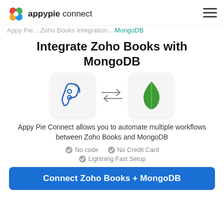appypie connect
Appy Pie Zoho Books Integration MongoDB
Integrate Zoho Books with MongoDB
[Figure (logo): Zoho Books logo icon (blue ribbon/tape icon) and MongoDB logo icon (green leaf), connected by bidirectional arrows]
Appy Pie Connect allows you to automate multiple workflows between Zoho Books and MongoDB
No code
No Credit Card
Lightning Fast Setup
Connect Zoho Books + MongoDB